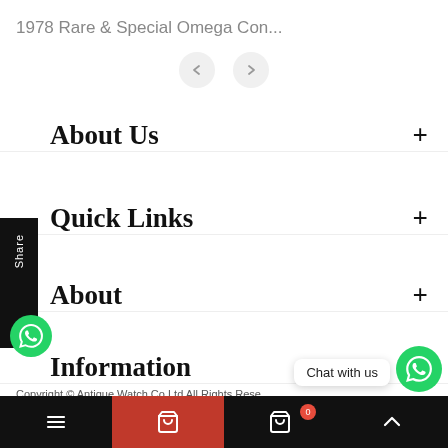1978 Rare & Special Omega Con...
About Us
Quick Links
About
Information
Social
Copyright © Antique Watch Co Ltd All Rights Rese...